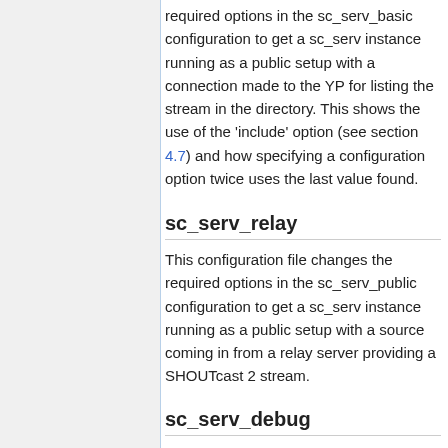required options in the sc_serv_basic configuration to get a sc_serv instance running as a public setup with a connection made to the YP for listing the stream in the directory. This shows the use of the 'include' option (see section 4.7) and how specifying a configuration option twice uses the last value found.
sc_serv_relay
This configuration file changes the required options in the sc_serv_public configuration to get a sc_serv instance running as a public setup with a source coming in from a relay server providing a SHOUTcast 2 stream.
sc_serv_debug
This configuration file can be included in any other configuration files to allow you